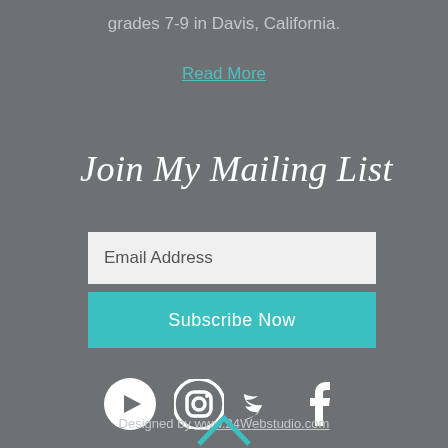grades 7-9 in Davis, California.
Read More
Join My Mailing List
Email Address
Subscribe Now
[Figure (other): Social media icons: YouTube, Instagram, Twitter, Facebook — white circles and symbols on gray background]
Designed by www.24Webstudio.com